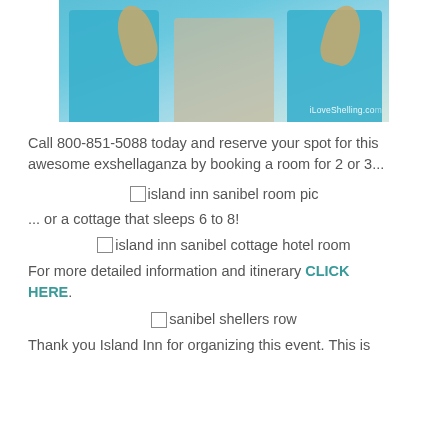[Figure (photo): Three people posing outdoors, two wearing light blue iLoveShelling.com shirts, holding large shells. Watermark 'iLoveShelling.com' in lower right.]
Call 800-851-5088 today and reserve your spot for this awesome exshellaganza by booking a room for 2 or 3...
[Figure (other): Broken/missing image placeholder labeled 'island inn sanibel room pic']
... or a cottage that sleeps 6 to 8!
[Figure (other): Broken/missing image placeholder labeled 'island inn sanibel cottage hotel room']
For more detailed information and itinerary CLICK HERE.
[Figure (other): Broken/missing image placeholder labeled 'sanibel shellers row']
Thank you Island Inn for organizing this event. This is